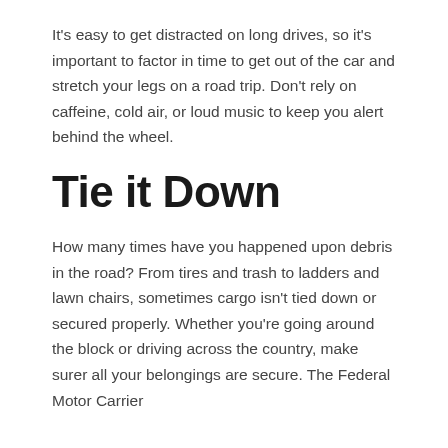It's easy to get distracted on long drives, so it's important to factor in time to get out of the car and stretch your legs on a road trip. Don't rely on caffeine, cold air, or loud music to keep you alert behind the wheel.
Tie it Down
How many times have you happened upon debris in the road? From tires and trash to ladders and lawn chairs, sometimes cargo isn't tied down or secured properly. Whether you're going around the block or driving across the country, make surer all your belongings are secure. The Federal Motor Carrier